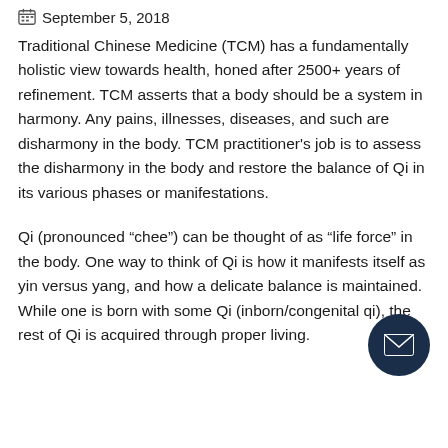September 5, 2018
Traditional Chinese Medicine (TCM) has a fundamentally holistic view towards health, honed after 2500+ years of refinement. TCM asserts that a body should be a system in harmony. Any pains, illnesses, diseases, and such are disharmony in the body. TCM practitioner's job is to assess the disharmony in the body and restore the balance of Qi in its various phases or manifestations.
Qi (pronounced “chee”) can be thought of as “life force” in the body. One way to think of Qi is how it manifests itself as yin versus yang, and how a delicate balance is maintained. While one is born with some Qi (inborn/congenital qi), the rest of Qi is acquired through proper living.